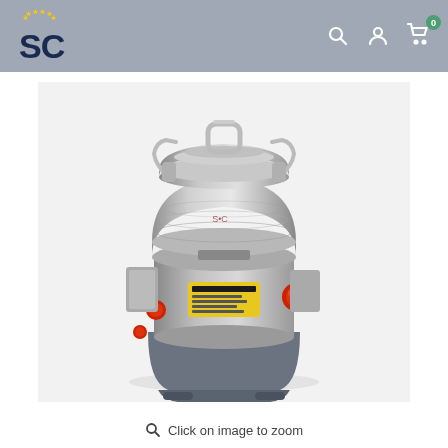SC logo with navigation icons: search, account, cart (0)
[Figure (photo): Electric grain/spice grinder with stainless steel bowl, red safety knobs, yellow label, and grey base, on white background]
Click on image to zoom